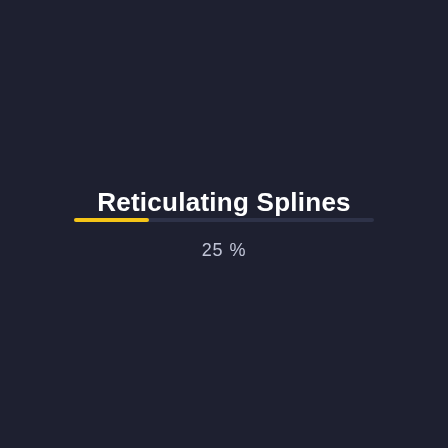Reticulating Splines
[Figure (infographic): A horizontal progress bar showing 25% completion. The filled portion is yellow/gold, the unfilled portion is dark. Below the bar is the text '25 %'.]
25 %